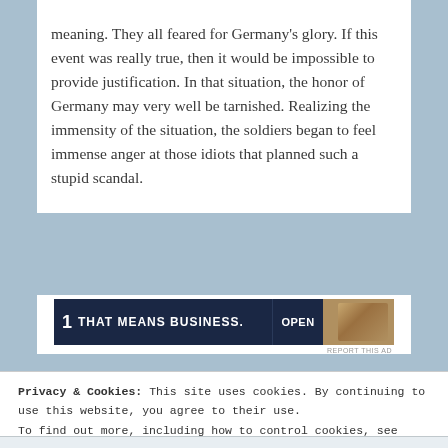meaning. They all feared for Germany's glory. If this event was really true, then it would be impossible to provide justification. In that situation, the honor of Germany may very well be tarnished. Realizing the immensity of the situation, the soldiers began to feel immense anger at those idiots that planned such a stupid scandal.
[Figure (other): Advertisement banner with dark navy background showing text 'THAT MEANS BUSINESS.' and 'OPEN' on the right side with a brown/gold section showing a hand.]
REPORT THIS AD
Privacy & Cookies: This site uses cookies. By continuing to use this website, you agree to their use.
To find out more, including how to control cookies, see here: Cookie Policy
Close and accept